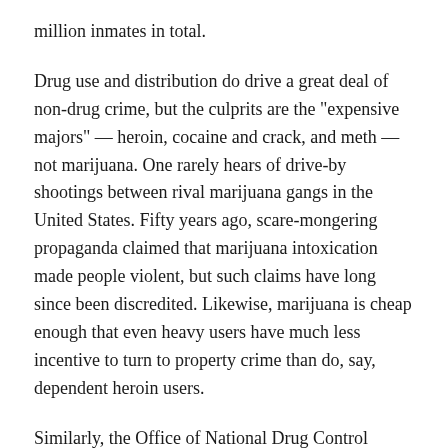million inmates in total.
Drug use and distribution do drive a great deal of non-drug crime, but the culprits are the "expensive majors" — heroin, cocaine and crack, and meth — not marijuana. One rarely hears of drive-by shootings between rival marijuana gangs in the United States. Fifty years ago, scare-mongering propaganda claimed that marijuana intoxication made people violent, but such claims have long since been discredited. Likewise, marijuana is cheap enough that even heavy users have much less incentive to turn to property crime than do, say, dependent heroin users.
Similarly, the Office of National Drug Control Policy reported in 2002 — the most recent official data available — that marijuana constituted only one-sixth of illicit drug-use spending and only 16% of treatment admissions. Marijuana